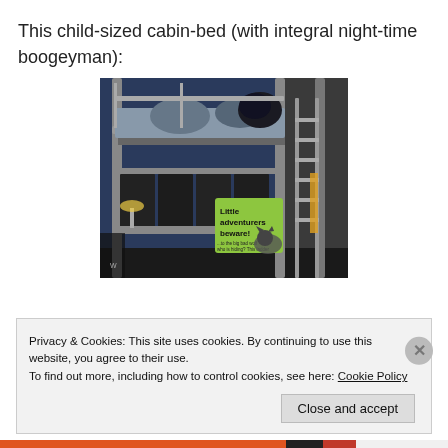This child-sized cabin-bed (with integral night-time boogeyman):
[Figure (photo): Photo of a child-sized metal cabin bed (loft/bunk bed style) in a store display. The bed has a metal frame with ladder rungs, pillows and bedding on the top bunk, storage shelves below, and a green sign hanging that reads 'Little adventurers beware!' The background shows a blue wall and dark display area.]
Privacy & Cookies: This site uses cookies. By continuing to use this website, you agree to their use.
To find out more, including how to control cookies, see here: Cookie Policy
Close and accept